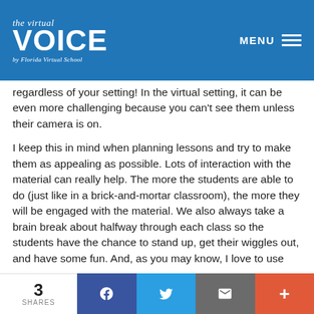the virtual VOICE by Florida Virtual School | MENU
regardless of your setting! In the virtual setting, it can be even more challenging because you can't see them unless their camera is on.
I keep this in mind when planning lessons and try to make them as appealing as possible. Lots of interaction with the material can really help. The more the students are able to do (just like in a brick-and-mortar classroom), the more they will be engaged with the material. We also always take a brain break about halfway through each class so the students have the chance to stand up, get their wiggles out, and have some fun. And, as you may know, I love to use
3 SHARES | Facebook | Twitter | Email | +